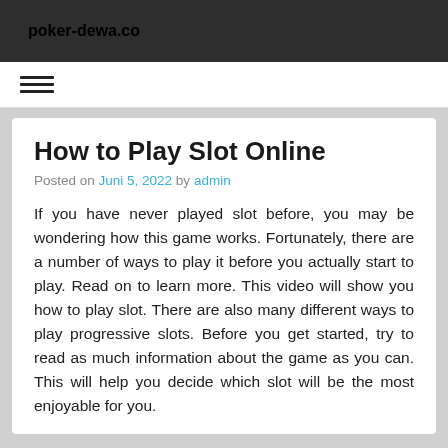poker-dewa.co
How to Play Slot Online
Posted on Juni 5, 2022 by admin
If you have never played slot before, you may be wondering how this game works. Fortunately, there are a number of ways to play it before you actually start to play. Read on to learn more. This video will show you how to play slot. There are also many different ways to play progressive slots. Before you get started, try to read as much information about the game as you can. This will help you decide which slot will be the most enjoyable for you.